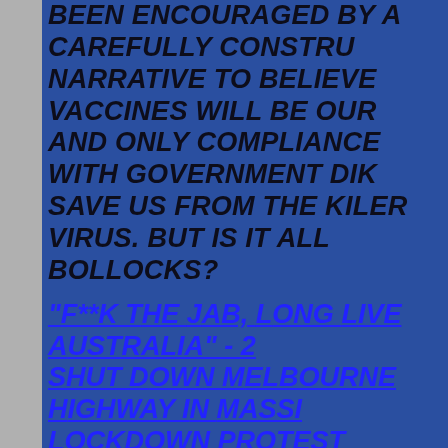BEEN ENCOURAGED BY A CAREFULLY CONSTRUCTED NARRATIVE TO BELIEVE VACCINES WILL BE OUR AND ONLY COMPLIANCE WITH GOVERNMENT DIK SAVE US FROM THE KILER VIRUS. BUT IS IT ALL BOLLOCKS?
"F**K The Jab, Long Live Australia" - 2 Shut Down Melbourne Highway In Massive Lockdown Protest
Anti-lockdown protests have become commonplace in Australia since the latest of "snap" lockdowns began two months although you wouldn't think so if you re mainstream media for information about going on in this increasingly insane world. Newspapers and broadcast news channels almost totally blanked stories rep...